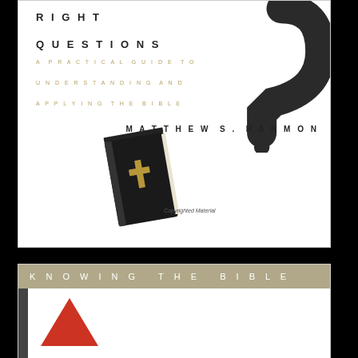[Figure (illustration): Book cover for 'Asking the Right Questions: A Practical Guide to Understanding and Applying the Bible' by Matthew S. Harmon. Features a large stylized question mark on a white background with a small black Bible illustration at the bottom center. Text on left includes the title and subtitle in spaced caps. Author name in spaced caps on right.]
[Figure (illustration): Book cover for 'Knowing the Bible' series. Features a tan/olive header bar with 'KNOWING THE BIBLE' in white spaced letters, a dark left border strip, and a red upward-pointing triangle on a white background.]